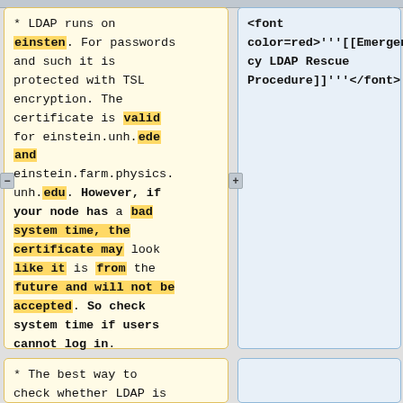* LDAP runs on einsten. For passwords and such it is protected with TSL encryption. The certificate is valid for einstein.unh.ede and einstein.farm.physics.unh.edu. However, if your node has a bad system time, the certificate may look like it is from the future and will not be accepted. So check system time if users cannot log in.
<font color=red>''[[Emergency LDAP Rescue Procedure]]''</font>
* The best way to check whether LDAP is